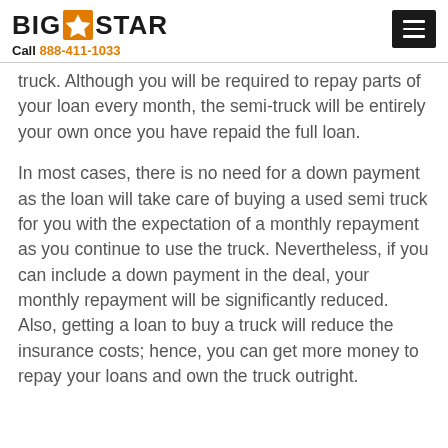BIG STAR | Call 888-411-1033
truck. Although you will be required to repay parts of your loan every month, the semi-truck will be entirely your own once you have repaid the full loan.
In most cases, there is no need for a down payment as the loan will take care of buying a used semi truck for you with the expectation of a monthly repayment as you continue to use the truck. Nevertheless, if you can include a down payment in the deal, your monthly repayment will be significantly reduced. Also, getting a loan to buy a truck will reduce the insurance costs; hence, you can get more money to repay your loans and own the truck outright.